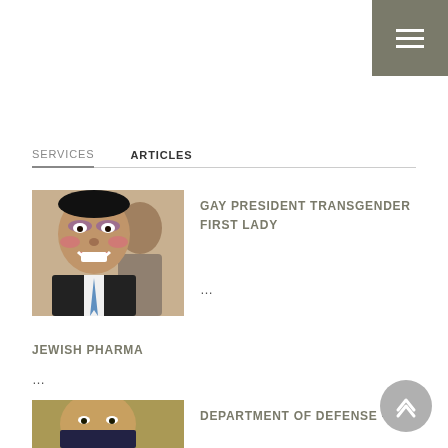[Figure (other): Hamburger menu icon on dark olive/gray background, top right corner]
SERVICES   ARTICLES
[Figure (photo): Photo of a man with digitally added makeup (eyeshadow, blush, lipstick)]
GAY PRESIDENT TRANSGENDER FIRST LADY
...
JEWISH PHARMA
...
[Figure (photo): Partial photo of a man in formal attire]
DEPARTMENT OF DEFENSE - 46 US